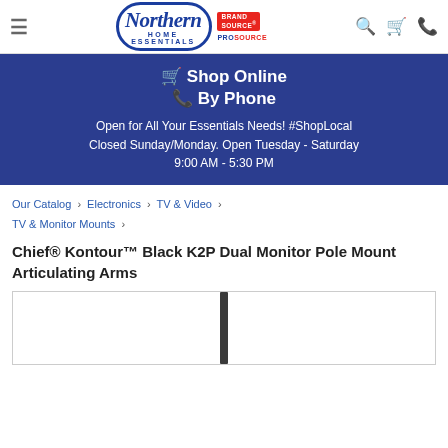Northern Home Essentials — BrandSource / ProSource header with navigation icons
🛒 Shop Online
📞 By Phone
Open for All Your Essentials Needs! #ShopLocal Closed Sunday/Monday. Open Tuesday - Saturday 9:00 AM - 5:30 PM
Our Catalog › Electronics › TV & Video › TV & Monitor Mounts ›
Chief® Kontour™ Black K2P Dual Monitor Pole Mount Articulating Arms
[Figure (photo): Product photo showing a black vertical pole mount — partial view of a black pole against white background]